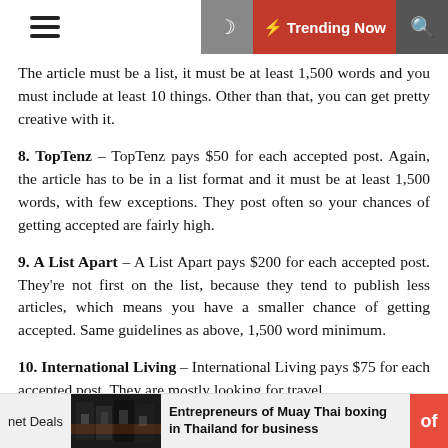☰ ☽ ⚡ Trending Now 🔍
The article must be a list, it must be at least 1,500 words and you must include at least 10 things. Other than that, you can get pretty creative with it.
8. TopTenz – TopTenz pays $50 for each accepted post. Again, the article has to be in a list format and it must be at least 1,500 words, with few exceptions. They post often so your chances of getting accepted are fairly high.
9. A List Apart – A List Apart pays $200 for each accepted post. They're not first on the list, because they tend to publish less articles, which means you have a smaller chance of getting accepted. Same guidelines as above, 1,500 word minimum.
10. International Living – International Living pays $75 for each accepted post. They are mostly looking for travel
net Deals   Entrepreneurs of Muay Thai boxing in Thailand for business